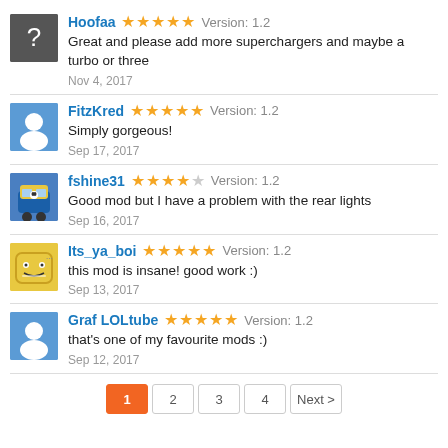Hoofaa ★★★★★ Version: 1.2
Great and please add more superchargers and maybe a turbo or three
Nov 4, 2017
FitzKred ★★★★★ Version: 1.2
Simply gorgeous!
Sep 17, 2017
fshine31 ★★★★☆ Version: 1.2
Good mod but I have a problem with the rear lights
Sep 16, 2017
Its_ya_boi ★★★★★ Version: 1.2
this mod is insane! good work :)
Sep 13, 2017
Graf LOLtube ★★★★★ Version: 1.2
that's one of my favourite mods :)
Sep 12, 2017